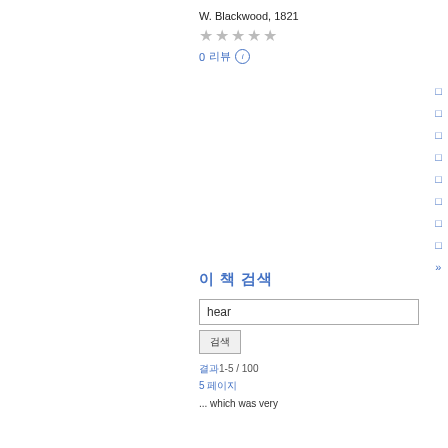W. Blackwood, 1821
★★★★★
0 리뷰 ⓘ
□ □ □ □ □ □ □ □ »
이 책 검색
hear
검색
결과1-5 / 100
5 페이지
... which was very